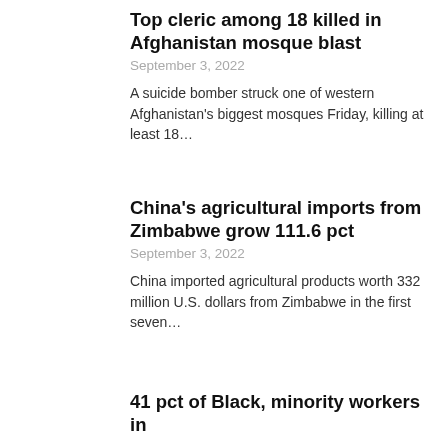Top cleric among 18 killed in Afghanistan mosque blast
September 3, 2022
A suicide bomber struck one of western Afghanistan's biggest mosques Friday, killing at least 18…
China's agricultural imports from Zimbabwe grow 111.6 pct
September 3, 2022
China imported agricultural products worth 332 million U.S. dollars from Zimbabwe in the first seven…
41 pct of Black, minority workers in